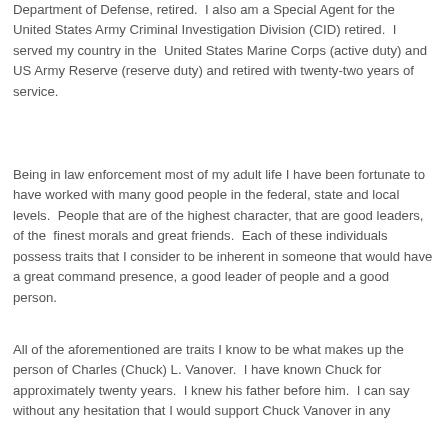Department of Defense, retired.  I also am a Special Agent for the United States Army Criminal Investigation Division (CID) retired.  I served my country in the  United States Marine Corps (active duty) and US Army Reserve (reserve duty) and retired with twenty-two years of service.
Being in law enforcement most of my adult life I have been fortunate to have worked with many good people in the federal, state and local levels.  People that are of the highest character, that are good leaders, of the  finest morals and great friends.  Each of these individuals possess traits that I consider to be inherent in someone that would have a great command presence, a good leader of people and a good person.
All of the aforementioned are traits I know to be what makes up the person of Charles (Chuck) L. Vanover.  I have known Chuck for approximately twenty years.  I knew his father before him.  I can say without any hesitation that I would support Chuck Vanover in any